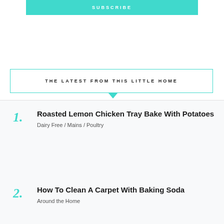SUBSCRIBE
THE LATEST FROM THIS LITTLE HOME
1. Roasted Lemon Chicken Tray Bake With Potatoes
Dairy Free / Mains / Poultry
2. How To Clean A Carpet With Baking Soda
Around the Home